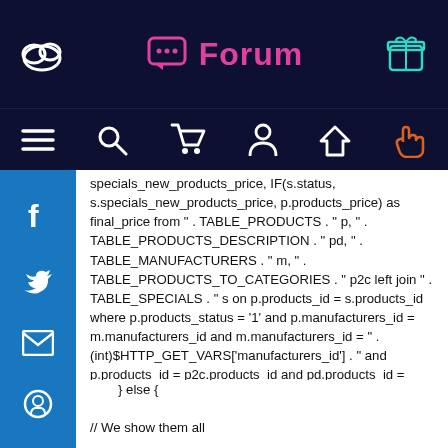Forum
specials_new_products_price, IF(s.status, s.specials_new_products_price, p.products_price) as final_price from " . TABLE_PRODUCTS . " p, " . TABLE_PRODUCTS_DESCRIPTION . " pd, " . TABLE_MANUFACTURERS . " m, " . TABLE_PRODUCTS_TO_CATEGORIES . " p2c left join " . TABLE_SPECIALS . " s on p.products_id = s.products_id where p.products_status = '1' and p.manufacturers_id = m.manufacturers_id and m.manufacturers_id = " . (int)$HTTP_GET_VARS['manufacturers_id'] . " and p.products_id = p2c.products_id and pd.products_id = p2c.products_id and pd.language_id = " . (int)$languages_id . " and p2c.categories_id = " . (int)$HTTP_GET_VARS['filter_id'] . "";
} else {
// We show them all